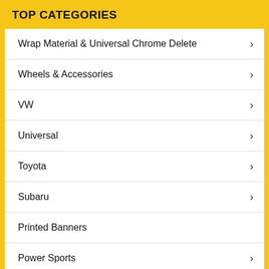TOP CATEGORIES
Wrap Material & Universal Chrome Delete
Wheels & Accessories
VW
Universal
Toyota
Subaru
Printed Banners
Power Sports
Mitsubishi